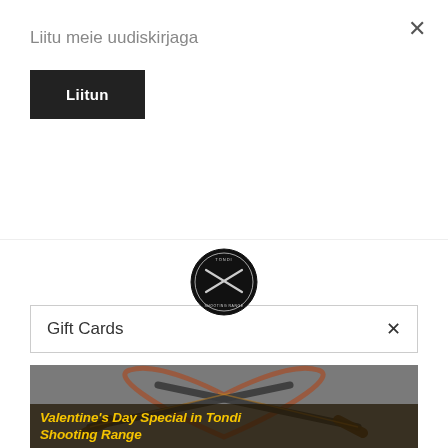Liitu meie uudiskirjaga
Liitun
[Figure (logo): Tondi Shooting Range circular logo with crossed rifles]
Gift Cards ×
[Figure (photo): Dark artistic illustration of two crossed shotguns overlaid on a heart shape made of barbed wire or thorny branches, on a gray textured background]
Valentine's Day Special in Tondi Shooting Range